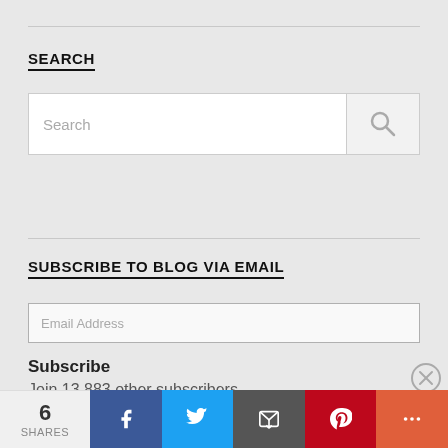SEARCH
[Figure (screenshot): Search input box with placeholder text 'Search' and a search icon button on the right]
SUBSCRIBE TO BLOG VIA EMAIL
[Figure (screenshot): Email address input field with placeholder 'Email Address']
Subscribe
Join 13,883 other subscribers
Advertisements
[Figure (screenshot): Partial advertisement banner with purple and orange circles]
[Figure (screenshot): Social share bar at bottom with 6 shares count, Facebook, Twitter, Email, Pinterest, and More buttons]